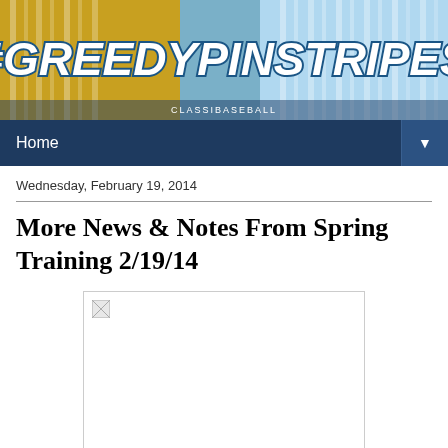[Figure (illustration): Website header banner for #GreedyPinstripes blog with stylized text logo over a baseball stadium background]
Home ▼
Wednesday, February 19, 2014
More News & Notes From Spring Training 2/19/14
[Figure (photo): Empty/broken image placeholder for a spring training photo]